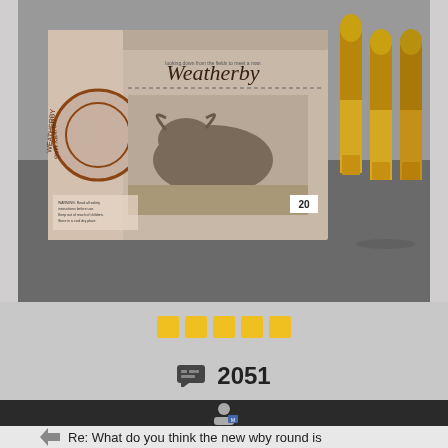[Figure (photo): Photo of a Weatherby 460 WBY MAG ammunition box with a buffalo on the front label showing '20' rounds, with three large brass rifle cartridges standing upright next to the box on a gray surface.]
[Figure (infographic): Five yellow square rating icons in a row, representing a 5-star rating.]
2051
[Figure (photo): Small user avatar/profile icon on dark background bar.]
Re: What do you think the new wby round is